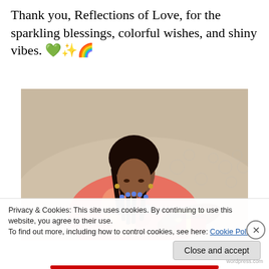Thank you, Reflections of Love, for the sparkling blessings, colorful wishes, and shiny vibes. 💚✨🌈
[Figure (photo): A woman with long braids wearing a colorful floral dress and beaded necklace, sitting on a patterned sofa and looking down at a colorful gift or box she is holding.]
Privacy & Cookies: This site uses cookies. By continuing to use this website, you agree to their use.
To find out more, including how to control cookies, see here: Cookie Policy
Close and accept